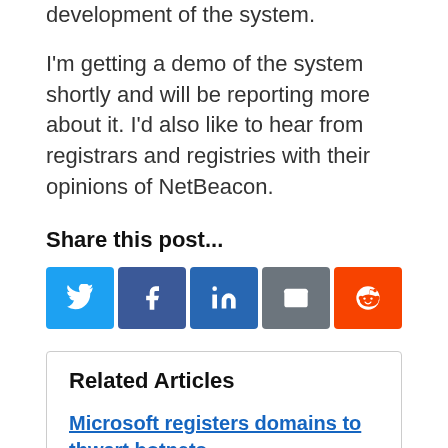development of the system.
I’m getting a demo of the system shortly and will be reporting more about it. I’d also like to hear from registrars and registries with their opinions of NetBeacon.
Share this post...
[Figure (other): Row of social media share buttons: Twitter (blue), Facebook (dark blue), LinkedIn (blue), Email (grey), Reddit (orange)]
Related Articles
Microsoft registers domains to thwart botnets
Racing’s fight against “Newborn” domain